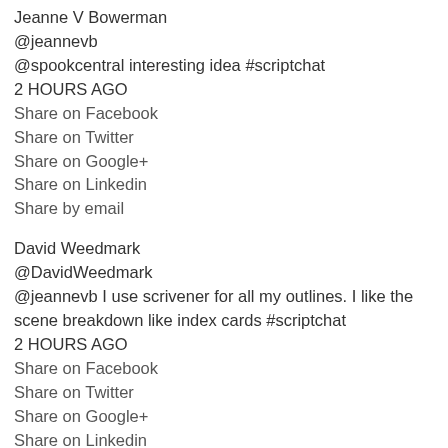Jeanne V Bowerman
@jeannevb
@spookcentral interesting idea #scriptchat
2 HOURS AGO
Share on Facebook
Share on Twitter
Share on Google+
Share on Linkedin
Share by email
David Weedmark
@DavidWeedmark
@jeannevb I use scrivener for all my outlines. I like the scene breakdown like index cards #scriptchat
2 HOURS AGO
Share on Facebook
Share on Twitter
Share on Google+
Share on Linkedin
Share by email
Sharita